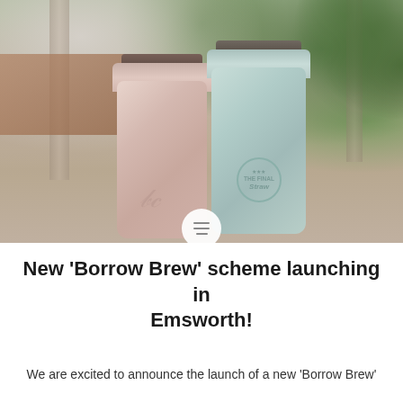[Figure (photo): Two reusable coffee cups side by side — one pink/rose on the left with a script logo, one mint/light green on the right with a circular 'The Final Straw' badge logo. Both have dark lids. Set against a blurred outdoor background with warm brown planter box and green foliage. A circular menu icon with three horizontal lines overlaid at the bottom center of the image.]
New 'Borrow Brew' scheme launching in Emsworth!
We are excited to announce the launch of a new 'Borrow Brew'